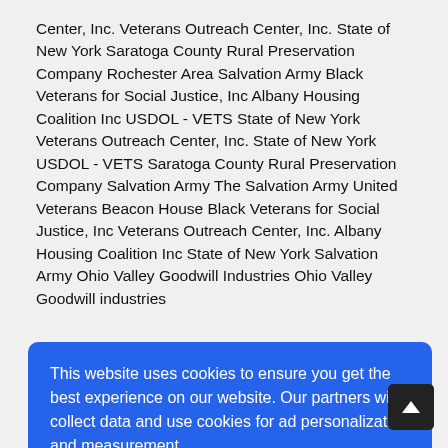Center, Inc. Veterans Outreach Center, Inc. State of New York Saratoga County Rural Preservation Company Rochester Area Salvation Army Black Veterans for Social Justice, Inc Albany Housing Coalition Inc USDOL - VETS State of New York Veterans Outreach Center, Inc. State of New York USDOL - VETS Saratoga County Rural Preservation Company Salvation Army The Salvation Army United Veterans Beacon House Black Veterans for Social Justice, Inc Veterans Outreach Center, Inc. Albany Housing Coalition Inc State of New York Salvation Army Ohio Valley Goodwill Industries Ohio Valley Goodwill industries [partially obscured] ...eater ...of ... ... ... ...State ...East ...; ...unity ...utions ...
This website uses cookies to ensure you get the best experience on our website. Our partners will collect data and use cookies for ad personalization and measurement. Learn how we and our partners collect and use data. OK
331 North High St 331 North High Street 195 Lancaster Street 355...